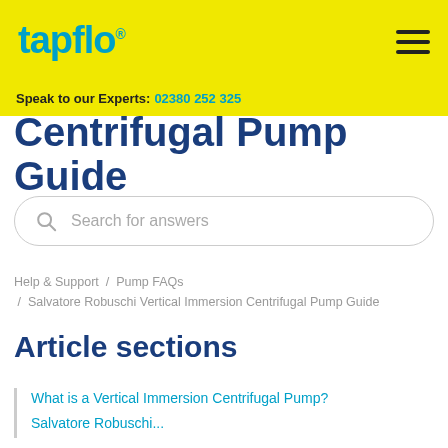tapflo®
Speak to our Experts: 02380 252 325
Centrifugal Pump Guide
Search for answers
Help & Support / Pump FAQs / Salvatore Robuschi Vertical Immersion Centrifugal Pump Guide
Article sections
What is a Vertical Immersion Centrifugal Pump?
Salvatore Robuschi...